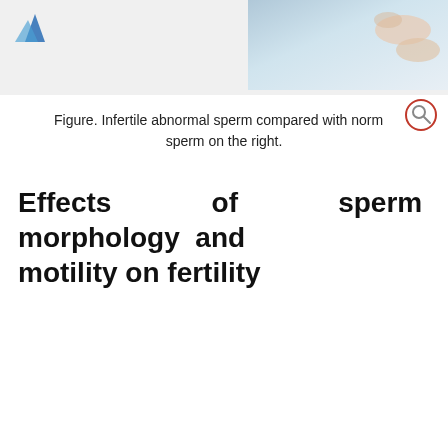[Figure (photo): Page header with a logo (blue triangles) on the left and a partial medical/clinical photo on the right showing a hand or clinical scene. Background is light grey.]
Figure. Infertile abnormal sperm compared with normal sperm on the right.
Effects of sperm morphology and motility on fertility